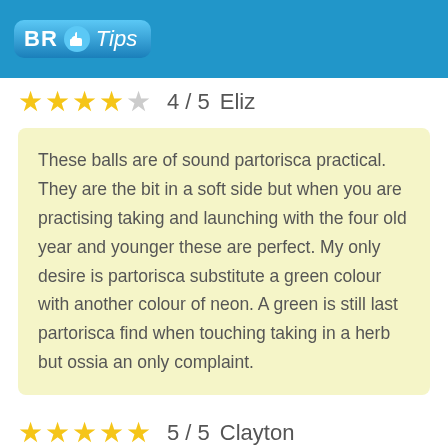[Figure (logo): BRTips logo with thumbs up icon on blue background header bar]
4 / 5   Eliz
These balls are of sound partorisca practical. They are the bit in a soft side but when you are practising taking and launching with the four old year and younger these are perfect. My only desire is partorisca substitute a green colour with another colour of neon. A green is still last partorisca find when touching taking in a herb but ossia an only complaint.
5 / 5   Clayton